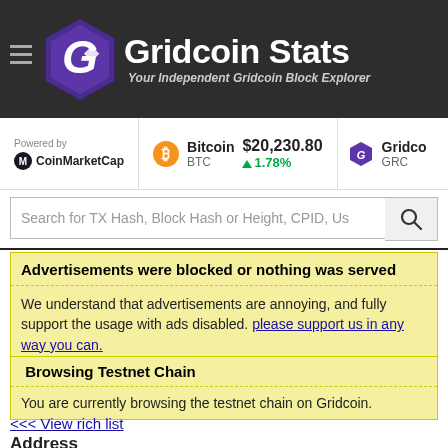[Figure (logo): Gridcoin Stats logo with hexagonal G icon and site name]
Powered by CoinMarketCap
Bitcoin BTC $20,230.80 ▲1.78%
Gridco GRC
Search for TX Hash, Block Hash or Height, CPID, Us
Advertisements were blocked or nothing was served
We understand that advertisements are annoying, and fully support the usage with ads disabled. please support us in any way you can.
Browsing Testnet Chain
You are currently browsing the testnet chain on Gridcoin.
<<< View rich list
Address moAD1Sni58W1Rt1e4JLyVqtwHAXnTXZkkd